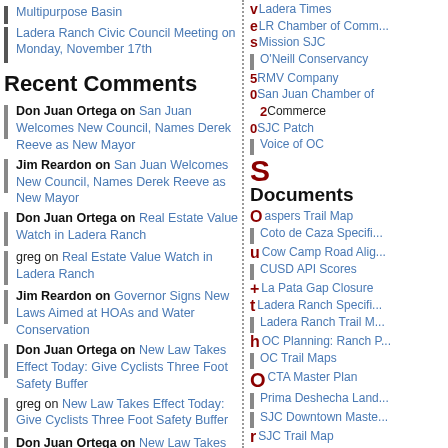Multipurpose Basin
Ladera Ranch Civic Council Meeting on Monday, November 17th
Recent Comments
Don Juan Ortega on San Juan Welcomes New Council, Names Derek Reeve as New Mayor
Jim Reardon on San Juan Welcomes New Council, Names Derek Reeve as New Mayor
Don Juan Ortega on Real Estate Value Watch in Ladera Ranch
greg on Real Estate Value Watch in Ladera Ranch
Jim Reardon on Governor Signs New Laws Aimed at HOAs and Water Conservation
Don Juan Ortega on New Law Takes Effect Today: Give Cyclists Three Foot Safety Buffer
greg on New Law Takes Effect Today: Give Cyclists Three Foot Safety Buffer
Don Juan Ortega on New Law Takes Effect Today: Give Cyclists Three Foot Safety Buffer
greg on New Law Takes Effect Today: Give Cyclists Three Foot Safety Buffer
Don Juan Ortega on E-S-E-N-C-I-A
Categories
Ladera Times
LR Chamber of Comm...
Mission SJC
O'Neill Conservancy
RMV Company
San Juan Chamber of Commerce
SJC Patch
Voice of OC
Documents
Caspers Trail Map
Coto de Caza Specifi...
Cow Camp Road Alig...
CUSD API Scores
La Pata Gap Closure
Ladera Ranch Specifi...
Ladera Ranch Trail M...
OC Planning: Ranch P...
OC Trail Maps
OCTA Master Plan
Prima Deshecha Land...
SJC Downtown Maste...
SJC Trail Map
Sign In